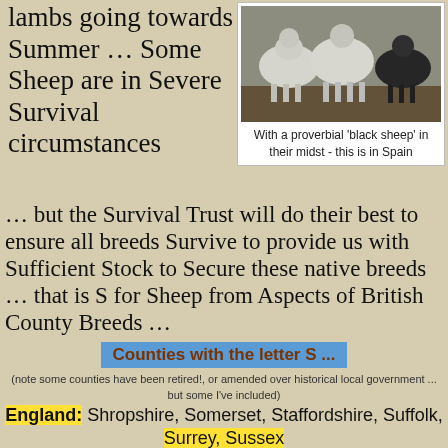lambs going towards Summer … Some Sheep are in Severe Survival circumstances
[Figure (photo): A group of white sheep with one black sheep among them, photographed in Spain]
With a proverbial 'black sheep' in their midst - this is in Spain
… but the Survival Trust will do their best to ensure all breeds Survive to provide us with Sufficient Stock to Secure these native breeds … that is S for Sheep from Aspects of British County Breeds …
Counties with the letter S ...
(note some counties have been retired!, or amended over historical local government ... but some I've included)
England: Shropshire, Somerset, Staffordshire, Suffolk, Surrey, Sussex
Northern Ireland: N...